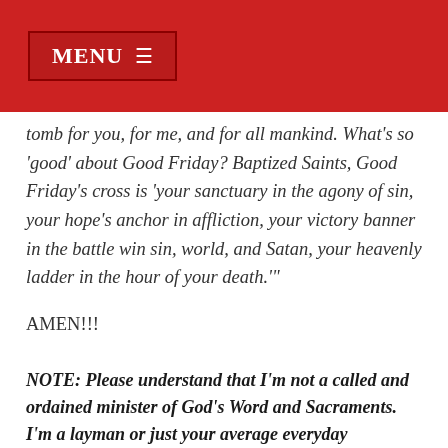MENU ☰
tomb for you, for me, and for all mankind. What's so 'good' about Good Friday? Baptized Saints, Good Friday's cross is 'your sanctuary in the agony of sin, your hope's anchor in affliction, your victory banner in the battle win sin, world, and Satan, your heavenly ladder in the hour of your death.'"
AMEN!!!
NOTE: Please understand that I'm not a called and ordained minister of God's Word and Sacraments. I'm a layman or just your average everyday Christian, Corporate Healthcare Recruiting Manager, Husband, Father, Friend who lives in the "City of Good Neighbors" here on the East Coast in Buffalo, NY. As another Christian Blogger once wrote, "Please do not